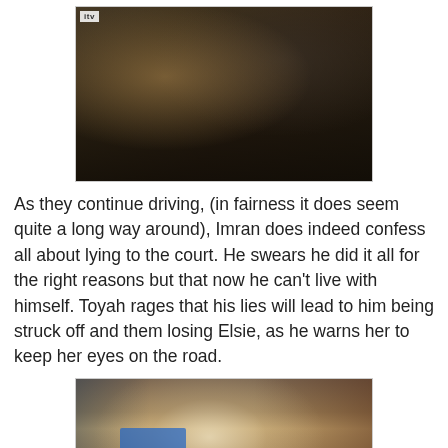[Figure (photo): Two people inside a car — a woman in a brown jacket in the driver seat and a man in a suit on the passenger side, seen from inside the vehicle. ITV logo visible in top-left corner.]
As they continue driving, (in fairness it does seem quite a long way around), Imran does indeed confess all about lying to the court. He swears he did it all for the right reasons but that now he can't live with himself. Toyah rages that his lies will lead to him being struck off and them losing Elsie, as he warns her to keep her eyes on the road.
[Figure (photo): A street scene showing a car crash or explosion — dust and debris visible, with blue construction barriers, a one-way traffic sign, red and white road barriers, and brick buildings in the background.]